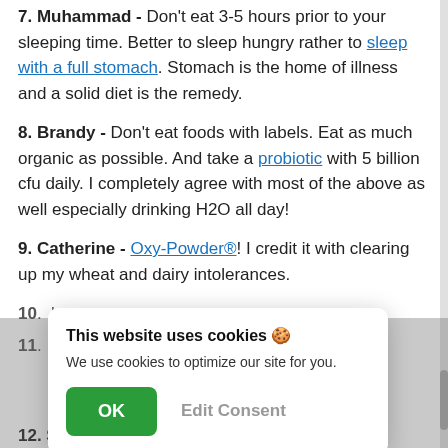7. Muhammad - Don't eat 3-5 hours prior to your sleeping time. Better to sleep hungry rather to sleep with a full stomach. Stomach is the home of illness and a solid diet is the remedy.
8. Brandy - Don't eat foods with labels. Eat as much organic as possible. And take a probiotic with 5 billion cfu daily. I completely agree with most of the above as well especially drinking H2O all day!
9. Catherine - Oxy-Powder®! I credit it with clearing up my wheat and dairy intolerances.
10. [partially obscured by cookie popup]
11. [partially obscured by cookie popup]
12. Sunny - Relax before you eat. Drink a cup of [cut off]
This website uses cookies 🍪
We use cookies to optimize our site for you.
[OK] [Edit Consent]